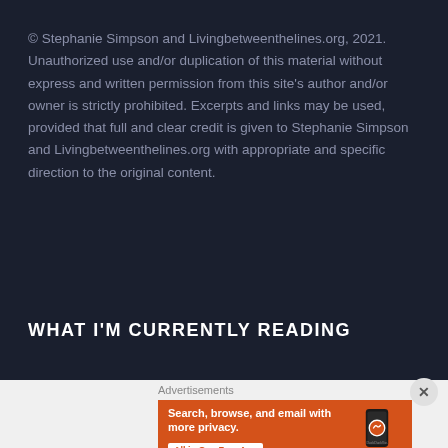© Stephanie Simpson and Livingbetweenthelines.org, 2021. Unauthorized use and/or duplication of this material without express and written permission from this site's author and/or owner is strictly prohibited. Excerpts and links may be used, provided that full and clear credit is given to Stephanie Simpson and Livingbetweenthelines.org with appropriate and specific direction to the original content.
WHAT I'M CURRENTLY READING
[Figure (screenshot): DuckDuckGo advertisement banner with orange background, showing 'Search, browse, and email with more privacy. All in One Free App' text and a phone with DuckDuckGo logo]